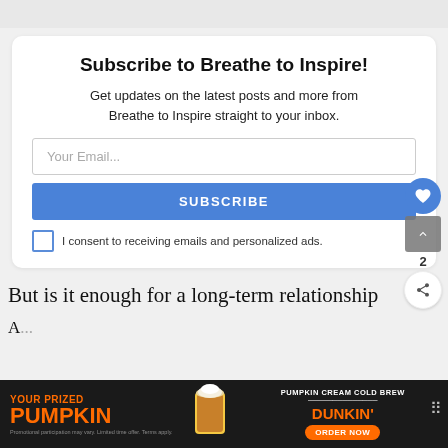Subscribe to Breathe to Inspire!
Get updates on the latest posts and more from Breathe to Inspire straight to your inbox.
Your Email...
SUBSCRIBE
I consent to receiving emails and personalized ads.
But is it enough for a long-term relationship
A...
[Figure (screenshot): Dunkin Pumpkin Cream Cold Brew advertisement banner at bottom of page]